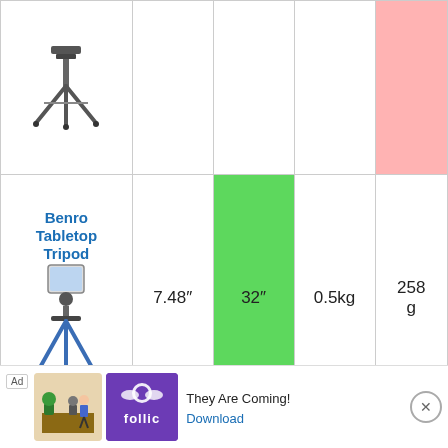| Product | Min Height | Max Height | Weight Capacity | Weight |
| --- | --- | --- | --- | --- |
| (tripod - partial) |  |  |  |  |
| Benro Tabletop Tripod | 7.48″ | 32″ | 0.5kg | 258 g |
| Joby GorillaPod Mobile Rig |  |  |  | 363 g |
[Figure (other): Advertisement banner for Follic game app - 'They Are Coming!' with Download link]